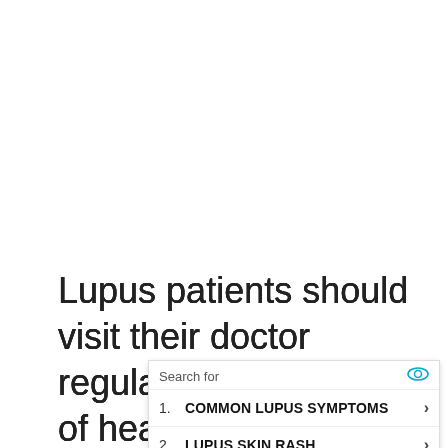Lupus patients should visit their doctor regularly and beware of heart trouble. After all, lupus raises a pa... art dise...
[Figure (screenshot): Advertisement overlay with 'Search for' header and two search result items: 1. COMMON LUPUS SYMPTOMS, 2. LUPUS SKIN RASH, with Business Focus branding at the bottom.]